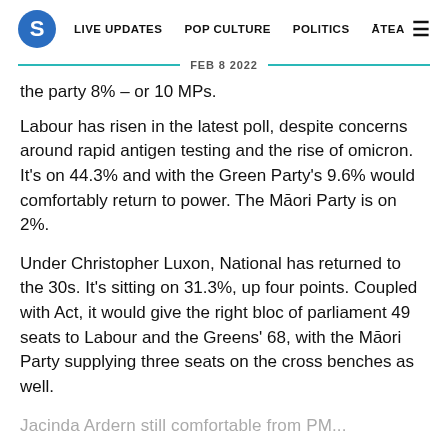S  LIVE UPDATES  POP CULTURE  POLITICS  ĀTEA  ≡
FEB 8 2022
the party 8% – or 10 MPs.
Labour has risen in the latest poll, despite concerns around rapid antigen testing and the rise of omicron. It's on 44.3% and with the Green Party's 9.6% would comfortably return to power. The Māori Party is on 2%.
Under Christopher Luxon, National has returned to the 30s. It's sitting on 31.3%, up four points. Coupled with Act, it would give the right bloc of parliament 49 seats to Labour and the Greens' 68, with the Māori Party supplying three seats on the cross benches as well.
...Jacinda Ardern still comfortable from PM...